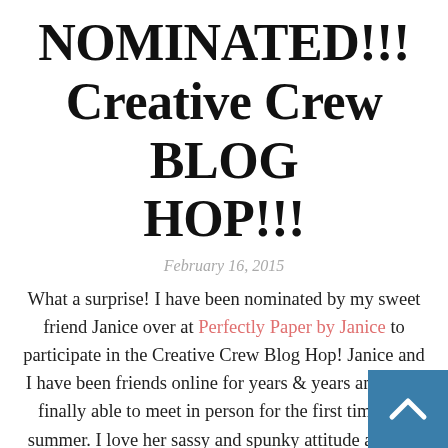NOMINATED!!! Creative Crew BLOG HOP!!!
February 16, 2015
What a surprise! I have been nominated by my sweet friend Janice over at Perfectly Paper by Janice to participate in the Creative Crew Blog Hop! Janice and I have been friends online for years & years and were finally able to meet in person for the first time last summer. I love her sassy and spunky attitude and she has amazing stamping talent. She has been a good friend and I'm honored to have been chosen by her.
The rules of the blog hop are as follows:
1. Create a project exclusive to the Creative Crew